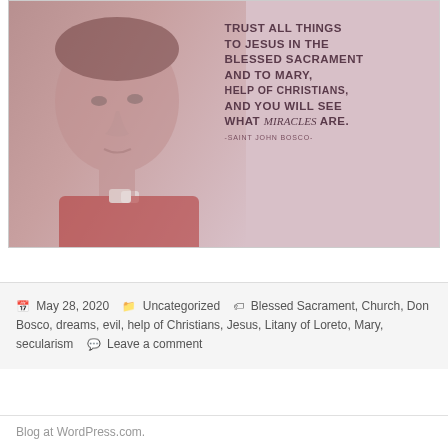[Figure (illustration): Illustrated portrait of Saint John Bosco wearing a red clerical garment with a white collar, against a warm pink/peach gradient background. On the right side of the image, bold uppercase text reads: 'TRUST ALL THINGS TO JESUS IN THE BLESSED SACRAMENT AND TO MARY, HELP OF CHRISTIANS, AND YOU WILL SEE WHAT miracles ARE.' with the attribution '-SAINT JOHN BOSCO-' below in small caps.]
May 28, 2020   Uncategorized   Blessed Sacrament, Church, Don Bosco, dreams, evil, help of Christians, Jesus, Litany of Loreto, Mary, secularism   Leave a comment
Blog at WordPress.com.